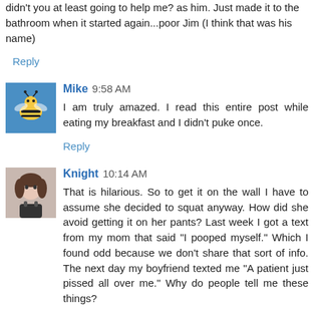didn't you at least going to help me? as him. Just made it to the bathroom when it started again...poor Jim (I think that was his name)
Reply
Mike 9:58 AM
I am truly amazed. I read this entire post while eating my breakfast and I didn't puke once.
Reply
Knight 10:14 AM
That is hilarious. So to get it on the wall I have to assume she decided to squat anyway. How did she avoid getting it on her pants? Last week I got a text from my mom that said "I pooped myself." Which I found odd because we don't share that sort of info. The next day my boyfriend texted me "A patient just pissed all over me." Why do people tell me these things?
Reply